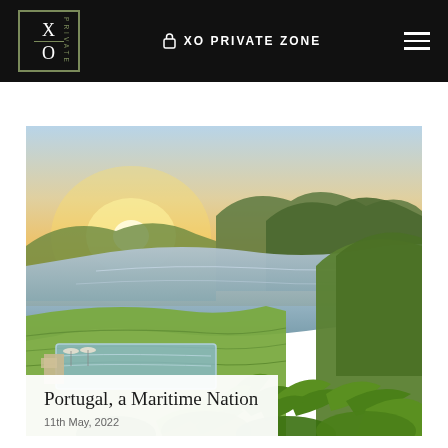XO PRIVATE ZONE
[Figure (photo): Aerial landscape photo of a river valley with green hills, lush vegetation, an infinity pool and terrace in the foreground, and mountains in the background under a warm sunset sky — Douro Valley, Portugal.]
Portugal, a Maritime Nation
11th May, 2022